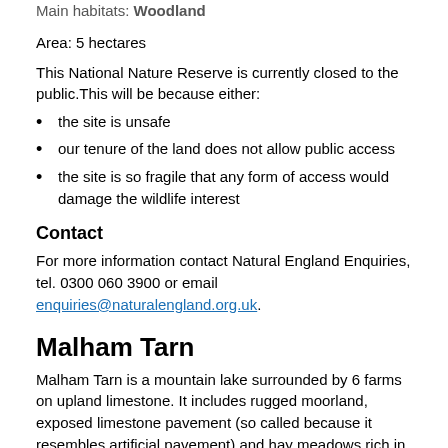Main habitats: Woodland
Area: 5 hectares
This National Nature Reserve is currently closed to the public.This will be because either:
the site is unsafe
our tenure of the land does not allow public access
the site is so fragile that any form of access would damage the wildlife interest
Contact
For more information contact Natural England Enquiries, tel. 0300 060 3900 or email enquiries@naturalengland.org.uk.
Malham Tarn
Malham Tarn is a mountain lake surrounded by 6 farms on upland limestone. It includes rugged moorland, exposed limestone pavement (so called because it resembles artificial pavement) and hay meadows rich in wildflowers.